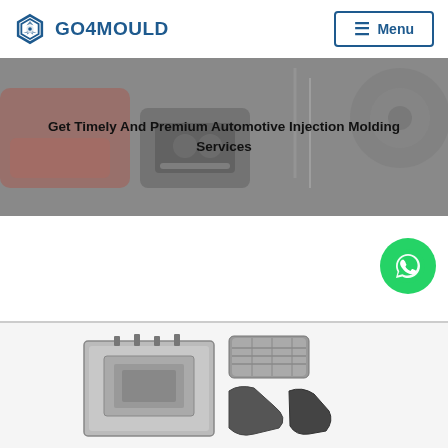[Figure (logo): GO4MOULD logo with hexagonal gear icon in blue and bold text GO4MOULD in dark blue]
[Figure (screenshot): Navigation menu button with hamburger icon and text Menu, bordered in blue]
[Figure (photo): Hero banner showing automotive injection molded parts (shoe sole, instrument cluster, car body parts) with gray overlay]
Get Timely And Premium Automotive Injection Molding Services
[Figure (photo): WhatsApp contact button - green circle with white WhatsApp phone icon]
[Figure (photo): Bottom section showing injection mold tooling equipment and automotive plastic parts (grille, trim pieces)]